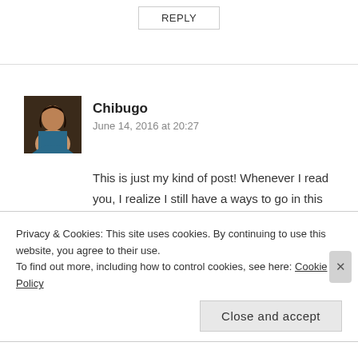REPLY
Chibugo
June 14, 2016 at 20:27
This is just my kind of post! Whenever I read you, I realize I still have a ways to go in this blogging thing. Your writing is so…. I lack words. Funny post. I love how you began with the irredeemables and proceeded to the redeemables. Makes one appreciate it so much. Jisike!
Privacy & Cookies: This site uses cookies. By continuing to use this website, you agree to their use.
To find out more, including how to control cookies, see here: Cookie Policy
Close and accept